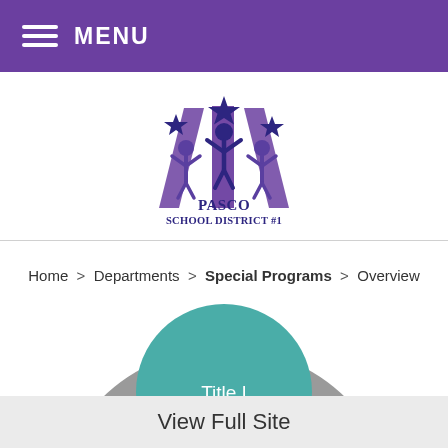MENU
[Figure (logo): Pasco School District #1 logo with three stars and figures raising arms]
Home > Departments > Special Programs > Overview
[Figure (infographic): Circular diagram showing a teal circle labeled 'Title I' with a large gray arc/ring behind it, partially visible]
View Full Site